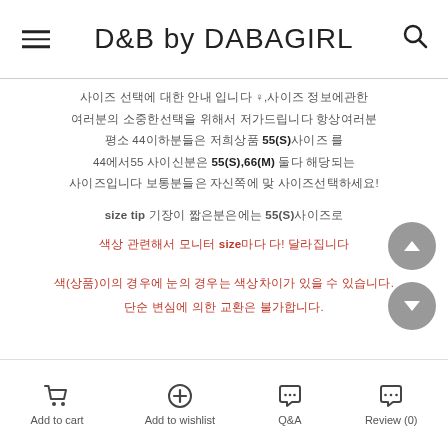D&B by DABAGIRL
사이즈 선택에 대한 안내 입니다 ♀,사이즈 정보에관한
여러분의 소중한선택을 위해서 저가드립니다 항상여러분
평소 44이하분들은 저희상품 55(S)사이즈 를
44에서55 사이신분은 55(S),66(M) 둘다 해당되는
사이즈입니다 보통분들은 자신쪽에 맞 사이즈선택하세요!
size tip 기장이 짧은분은에는 55(S)사이즈로
색상 관련해서 모니터 size마다 다! 달라집니다
색(상품)이의 경우에 눈의 경우는 색상차이가 있을 수 있습니다. 단순 변심에 의한 교환은 불가합니다.
Add to cart | Add to wishlist | Q&A | Review (0)